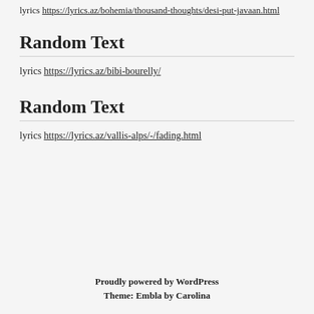lyrics https://lyrics.az/bohemia/thousand-thoughts/desi-put-javaan.html
Random Text
lyrics https://lyrics.az/bibi-bourelly/
Random Text
lyrics https://lyrics.az/vallis-alps/-/fading.html
Proudly powered by WordPress
Theme: Embla by Carolina